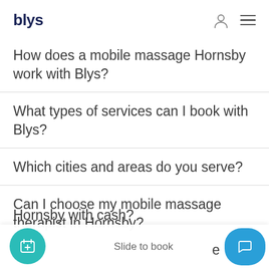blys
How does a mobile massage Hornsby work with Blys?
What types of services can I book with Blys?
Which cities and areas do you serve?
Can I choose my mobile massage therapist in Hornsby?
Slide to book
Hornsby with cash?